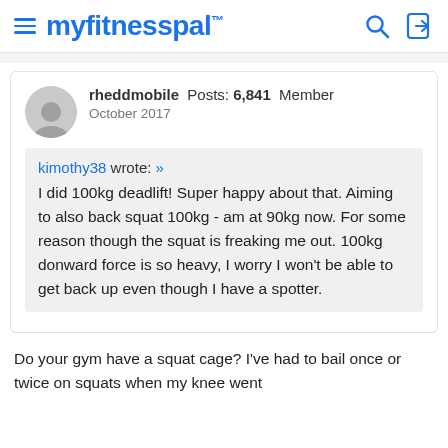myfitnesspal
rheddmobile Posts: 6,841 Member
October 2017
kimothy38 wrote: »
I did 100kg deadlift! Super happy about that. Aiming to also back squat 100kg - am at 90kg now. For some reason though the squat is freaking me out. 100kg donward force is so heavy, I worry I won't be able to get back up even though I have a spotter.
Do your gym have a squat cage? I've had to bail once or twice on squats when my knee went